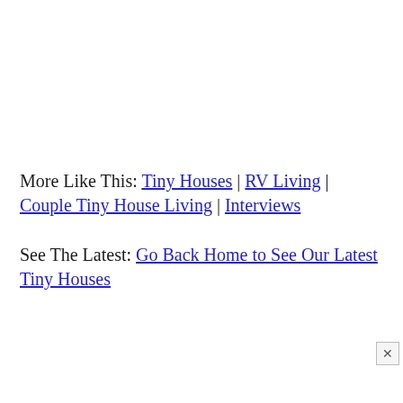More Like This: Tiny Houses | RV Living | Couple Tiny House Living | Interviews
See The Latest: Go Back Home to See Our Latest Tiny Houses